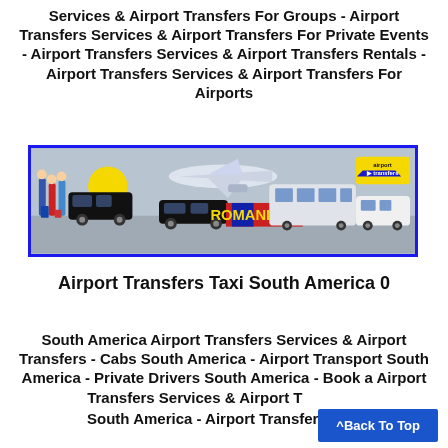Services & Airport Transfers For Groups - Airport Transfers Services & Airport Transfers For Private Events - Airport Transfers Services & Airport Transfers Rentals - Airport Transfers Services & Airport Transfers For Airports
[Figure (photo): Banner image showing airport transfer vehicles including a black van, a black SUV, an airplane, a large bus, and a white van. Features a yellow taxi icon, Romanian flag text 'ROMANIA', and an 'airport transfers' logo badge.]
Airport Transfers Taxi South America 0
South America Airport Transfers Services & Airport Transfers - Cabs South America - Airport Transport South America - Private Drivers South America - Book a Airport Transfers Services & Airport Transfers South America - Airport Transfers with